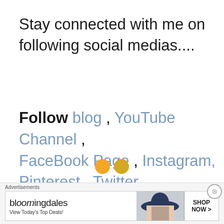Stay connected with me on following social medias....
Follow blog , YouTube Channel , FaceBook Page , Instagram, Pinterest , Twitter
Advertisements — bloomingdales — View Today's Top Deals! — SHOP NOW >